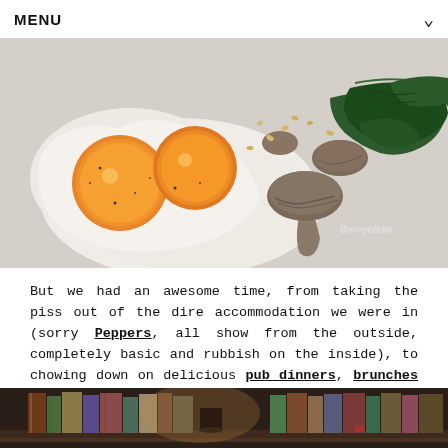MENU
[Figure (photo): Close-up photo of a breakfast dish with two fried eggs (bright orange yolks), mushrooms, and wilted spinach/greens on a light surface. Watermark text visible in bottom right.]
But we had an awesome time, from taking the piss out of the dire accommodation we were in (sorry Peppers, all show from the outside, completely basic and rubbish on the inside), to chowing down on delicious pub dinners, brunches and afternoon tea.
[Figure (photo): Photo of bookshelves filled with old books, with warm amber lighting, partially visible at bottom of page.]